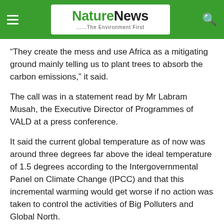NatureNews — The Environment First
“They create the mess and use Africa as a mitigating ground mainly telling us to plant trees to absorb the carbon emissions,” it said.
The call was in a statement read by Mr Labram Musah, the Executive Director of Programmes of VALD at a press conference.
It said the current global temperature as of now was around three degrees far above the ideal temperature of 1.5 degrees according to the Intergovernmental Panel on Climate Change (IPCC) and that this incremental warming would get worse if no action was taken to control the activities of Big Polluters and Global North.
“It is no secret that Africa’s contribution to the current climate crisis is insignificant, yet the continent is the most adversely